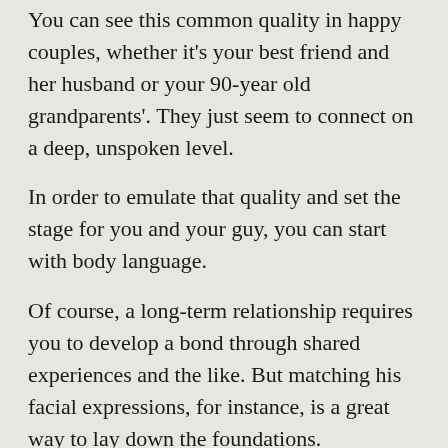You can see this common quality in happy couples, whether it's your best friend and her husband or your 90-year old grandparents'. They just seem to connect on a deep, unspoken level.
In order to emulate that quality and set the stage for you and your guy, you can start with body language.
Of course, a long-term relationship requires you to develop a bond through shared experiences and the like. But matching his facial expressions, for instance, is a great way to lay down the foundations.
For example, if you're out on a date with him and he's having a good time, he's likely to have a happy, satisfied expression on his gorgeous face.
What you can do is match the brightness of his smile and instantly, that will allow you to create an